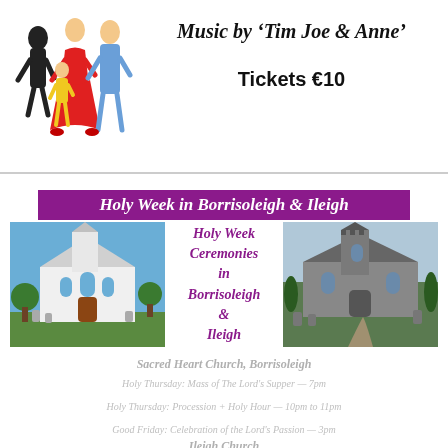[Figure (illustration): Illustration of dancing figures - people in colorful outfits dancing]
Music by 'Tim Joe & Anne'
Tickets €10
Holy Week in Borrisoleigh & Ileigh
[Figure (photo): Photo of Sacred Heart Church Borrisoleigh - white church building with blue sky]
Holy Week Ceremonies in Borrisoleigh & Ileigh
[Figure (photo): Photo of Ileigh Church - grey stone church building]
Sacred Heart Church, Borrisoleigh
Holy Thursday: Mass of The Lord's Supper — 7pm
Holy Thursday: Procession + Holy Hour — 10pm to 11pm
Good Friday: Celebration of the Lord's Passion — 3pm
Good Friday: Stations of the Cross — 8pm
Holy Saturday: Easter Vigil Mass — 9pm
Ileigh Church